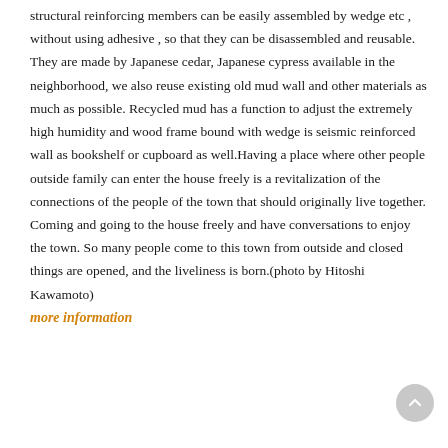structural reinforcing members can be easily assembled by wedge etc , without using adhesive , so that they can be disassembled and reusable. They are made by Japanese cedar, Japanese cypress available in the neighborhood, we also reuse existing old mud wall and other materials as much as possible. Recycled mud has a function to adjust the extremely high humidity and wood frame bound with wedge is seismic reinforced wall as bookshelf or cupboard as well.Having a place where other people outside family can enter the house freely is a revitalization of the connections of the people of the town that should originally live together. Coming and going to the house freely and have conversations to enjoy the town. So many people come to this town from outside and closed things are opened, and the liveliness is born.(photo by Hitoshi Kawamoto)
more information